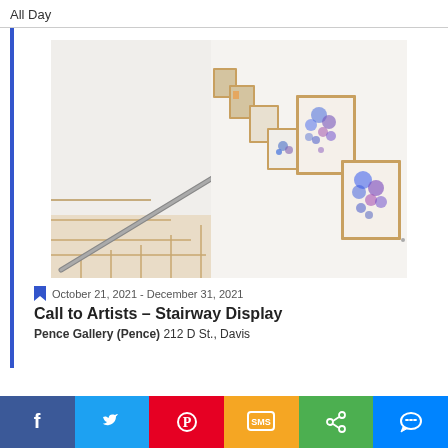All Day
[Figure (photo): Photo of a stairway in a gallery with framed artworks hung along the wall, showing blue/purple abstract paintings in wooden frames going up the staircase.]
October 21, 2021 - December 31, 2021
Call to Artists – Stairway Display
Pence Gallery (Pence) 212 D St., Davis